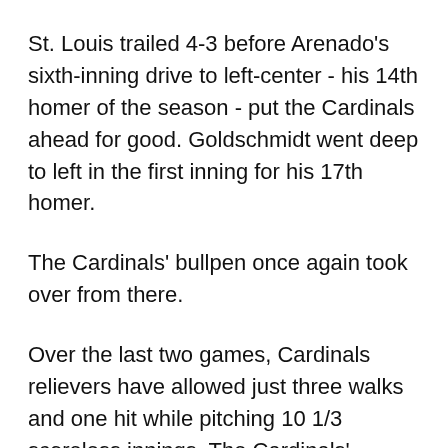St. Louis trailed 4-3 before Arenado's sixth-inning drive to left-center - his 14th homer of the season - put the Cardinals ahead for good. Goldschmidt went deep to left in the first inning for his 17th homer.
The Cardinals' bullpen once again took over from there.
Over the last two games, Cardinals relievers have allowed just three walks and one hit while pitching 10 1/3 scoreless innings. The Cardinals' bullpen was dominant Wednesday at less than full strength after both Giovanny Gallegos and Ryan Helsley had pitched two innings a night earlier.
Genesis Cabrera pitched the final two innings to earn his third save and first since 2020. Jake...